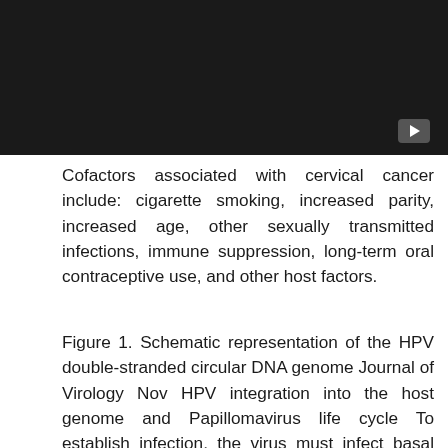[Figure (screenshot): Dark/black video player thumbnail with a play button icon in the bottom-right corner]
Cofactors associated with cervical cancer include: cigarette smoking, increased parity, increased age, other sexually transmitted infections, immune suppression, long-term oral contraceptive use, and other host factors.
Figure 1. Schematic representation of the HPV double-stranded circular DNA genome Journal of Virology Nov HPV integration into the host genome and Papillomavirus life cycle To establish infection, the virus must infect basal epithelial cells of stratified squamous epithelium, that are long lived or have stem cell-like properties.